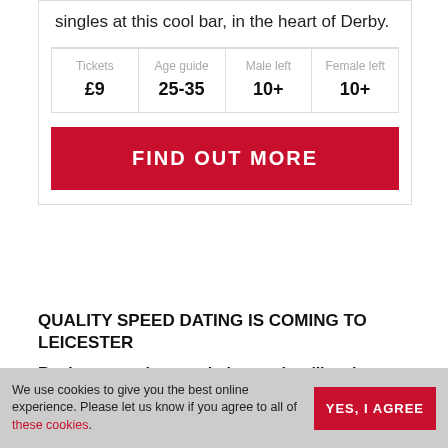singles at this cool bar, in the heart of Derby.
| Tickets | Age guide | Male left | Female left |
| --- | --- | --- | --- |
| £9 | 25-35 | 10+ | 10+ |
FIND OUT MORE
QUALITY SPEED DATING IS COMING TO LEICESTER
Register your interest below and we'll make sure you're first in line to hear about our launch - And we'll give you 50% off your first event!
We use cookies to give you the best online experience. Please let us know if you agree to all of these cookies.